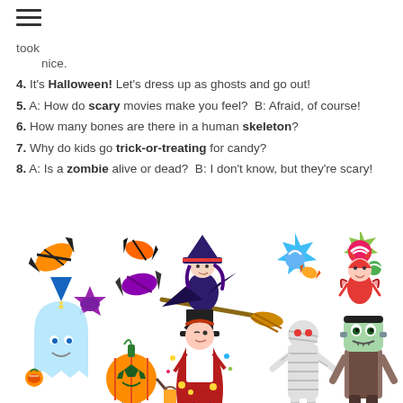took
nice.
4. It's Halloween! Let's dress up as ghosts and go out!
5. A: How do scary movies make you feel?  B: Afraid, of course!
6. How many bones are there in a human skeleton?
7. Why do kids go trick-or-treating for candy?
8. A: Is a zombie alive or dead?  B: I don't know, but they're scary!
[Figure (illustration): Halloween themed clipart: candy pieces, a witch on a broomstick, Halloween characters including a ghost, pumpkin, mummy, Frankenstein monster, and kids in costumes.]